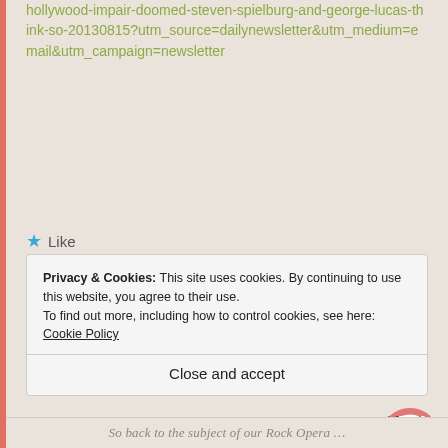hollywood-impair-doomed-steven-spielburg-and-george-lucas-think-so-20130815?utm_source=dailynewsletter&utm_medium=email&utm_campaign=newsletter
★ Like
➥ LOG IN TO REPLY
AUGUST 16, 2013 AT 6:32 PM
Maggie
Privacy & Cookies: This site uses cookies. By continuing to use this website, you agree to their use.
To find out more, including how to control cookies, see here: Cookie Policy
Close and accept
So back to the subject of our Rock Opera …